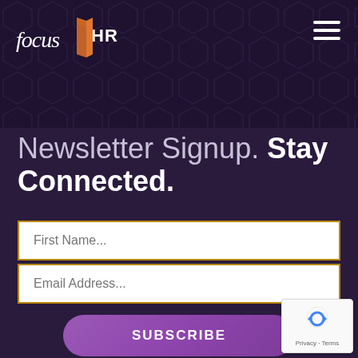[Figure (logo): focus HR logo with italic 'focus' text in white and 'HR' text beside an orange/copper stylized book or door icon]
Newsletter Signup. Stay Connected.
First Name...
Email Address...
SUBSCRIBE
[Figure (other): Google reCAPTCHA badge with robot icon and Privacy · Terms text]